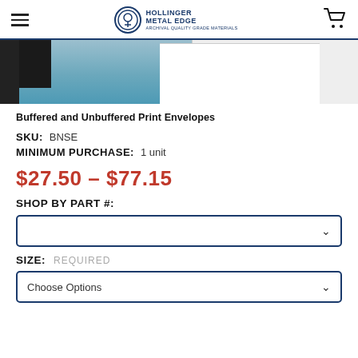Hollinger Metal Edge
[Figure (photo): Product photo showing white print envelopes on a blue-gray surface with dark background on left]
Buffered and Unbuffered Print Envelopes
SKU: BNSE
MINIMUM PURCHASE: 1 unit
$27.50 - $77.15
SHOP BY PART #:
SIZE: REQUIRED
Choose Options